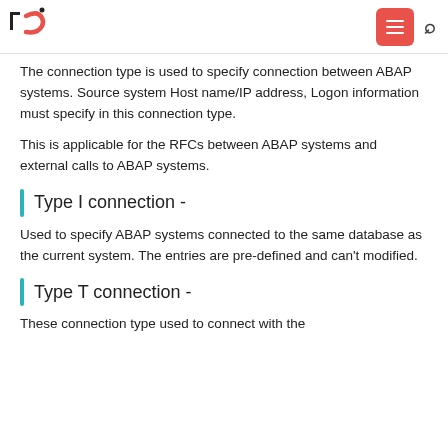tc logo, menu button, search icon
The connection type is used to specify connection between ABAP systems. Source system Host name/IP address, Logon information must specify in this connection type.
This is applicable for the RFCs between ABAP systems and external calls to ABAP systems.
Type I connection -
Used to specify ABAP systems connected to the same database as the current system. The entries are pre-defined and can't modified.
Type T connection -
These connection type used to connect with the